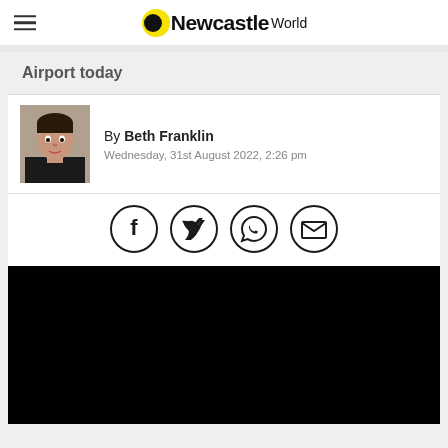OnNewcastle World
Airport today
By Beth Franklin
Wednesday, 31st August 2022, 2:26 pm
[Figure (other): Social share icons: Facebook, Twitter, WhatsApp, Email]
[Figure (photo): Black/dark image area]